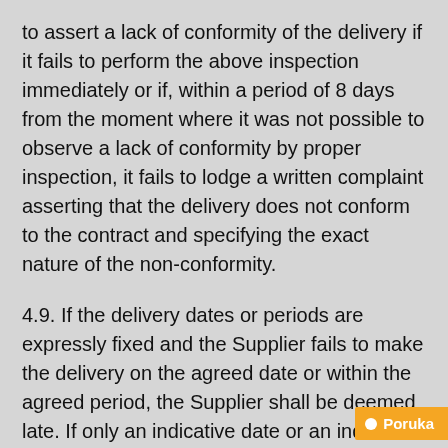to assert a lack of conformity of the delivery if it fails to perform the above inspection immediately or if, within a period of 8 days from the moment where it was not possible to observe a lack of conformity by proper inspection, it fails to lodge a written complaint asserting that the delivery does not conform to the contract and specifying the exact nature of the non-conformity.
4.9. If the delivery dates or periods are expressly fixed and the Supplier fails to make the delivery on the agreed date or within the agreed period, the Supplier shall be deemed late. If only an indicative date or an indicative period has been fixed, or if such indicative dates and periods are deemed to have been fixed, the Supplier shall be late only if it fails to make the delivery within additional six weeks after the designated indicative date or the designated